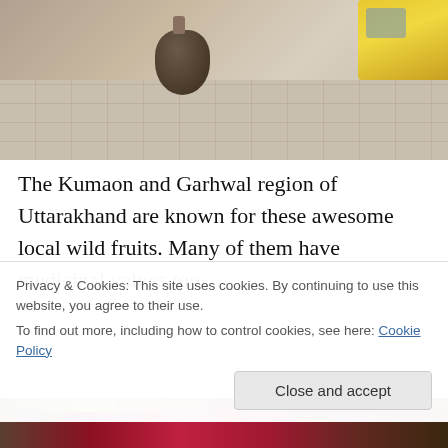[Figure (photo): A dark clay pot or vessel sitting on a brick/tile floor, with a yellow cardboard box visible in the upper right corner. The floor has a grid brick pattern.]
The Kumaon and Garhwal region of Uttarakhand are known for these awesome local wild fruits. Many of them have medicinal values too.
[Figure (photo): Partial photo showing what appears to be red/dark berries or fruits with green leaves, partially obscured by the cookie consent banner.]
Privacy & Cookies: This site uses cookies. By continuing to use this website, you agree to their use.
To find out more, including how to control cookies, see here: Cookie Policy